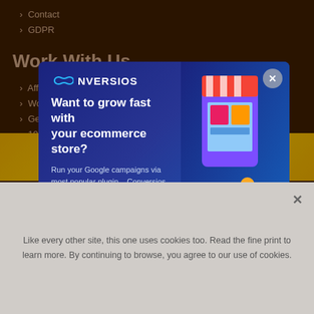Contact
GDPR
Work With Us
Affiliates
WordPress Maintenance Services
Geo...
100+...
Best...
Blog...
[Figure (screenshot): Conversios popup modal with headline 'Want to grow fast with your ecommerce store?', subtext 'Run your Google campaigns via most popular plugin – Conversios', a 'I am in >>' button, and an ecommerce illustration on the right side. Close button X in top right.]
[Figure (logo): PayPal VERIFIED banner and PayPal logo on golden background]
Like every other site, this one uses cookies too. Read the fine print to learn more. By continuing to browse, you agree to our use of cookies.